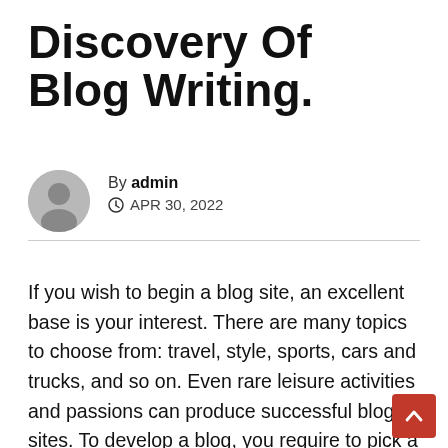Discovery Of Blog Writing.
By admin
APR 30, 2022
If you wish to begin a blog site, an excellent base is your interest. There are many topics to choose from: travel, style, sports, cars and trucks, and so on. Even rare leisure activities and passions can produce successful blog sites. To develop a blog, you require to pick a domain. Domain names ought to be detailed of the content. For example, you may blog